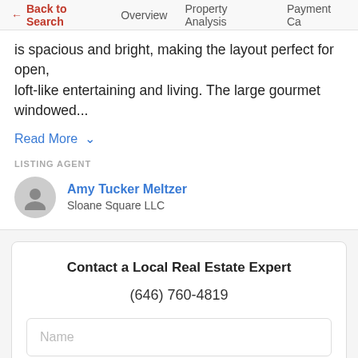← Back to Search   Overview   Property Analysis   Payment Ca…
is spacious and bright, making the layout perfect for open, loft-like entertaining and living. The large gourmet windowed...
Read More ∨
LISTING AGENT
Amy Tucker Meltzer
Sloane Square LLC
Contact a Local Real Estate Expert
(646) 760-4819
Name